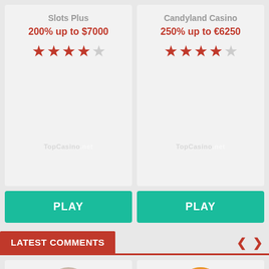Slots Plus
200% up to $7000
[Figure (other): 3.5 out of 5 stars rating for Slots Plus]
Candyland Casino
250% up to €6250
[Figure (other): 4 out of 5 stars rating for Candyland Casino]
PLAY
PLAY
LATEST COMMENTS
[Figure (photo): Generic user avatar - grey silhouette person icon]
[Figure (illustration): Cartoon meerkat avatar with bowtie in colorful landscape]
Sylvester Basnight
Jon Voiskovie